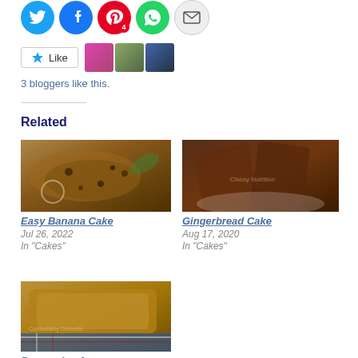[Figure (other): Social sharing icons row: Twitter (blue), Facebook (blue), Pinterest (red with badge '4'), WhatsApp (green), Email (grey)]
[Figure (other): Like button with star icon followed by 3 blogger avatar thumbnails]
3 bloggers like this.
Related
[Figure (photo): Photo of sliced banana cake with chocolate chips]
Easy Banana Cake
Jul 26, 2022
In "Cakes"
[Figure (photo): Photo of sliced gingerbread cake]
Gingerbread Cake
Aug 17, 2020
In "Cakes"
[Figure (photo): Photo of banana loaf cake, partially visible]
Banana Loaf